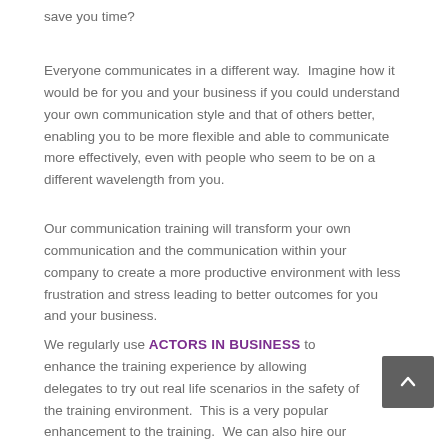save you time?
Everyone communicates in a different way.  Imagine how it would be for you and your business if you could understand your own communication style and that of others better, enabling you to be more flexible and able to communicate more effectively, even with people who seem to be on a different wavelength from you.
Our communication training will transform your own communication and the communication within your company to create a more productive environment with less frustration and stress leading to better outcomes for you and your business.
We regularly use ACTORS IN BUSINESS to enhance the training experience by allowing delegates to try out real life scenarios in the safety of the training environment.  This is a very popular enhancement to the training.  We can also hire our Actors in Business to other training organisations to use within their own trainings.